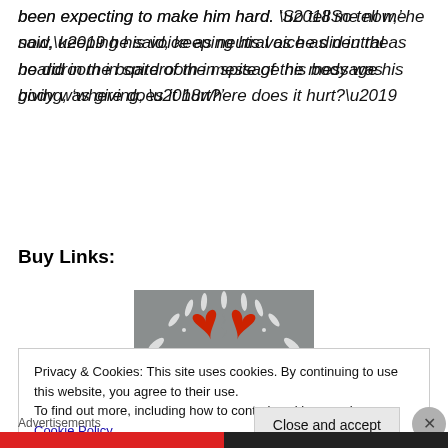been expecting to make him hard. ‘So tell me now,’ he said, keeping his voice as neutral as he did in the boardroom in spite of the message his body was giving, ‘where does it hurt?’
Buy Links:
[Figure (illustration): Book cover image with grey background, white floral/leaf patterns, two red broken hearts at top, a green Christmas tree at bottom, and text in the center.]
Privacy & Cookies: This site uses cookies. By continuing to use this website, you agree to their use.
To find out more, including how to control cookies, see here: Cookie Policy
Advertisements